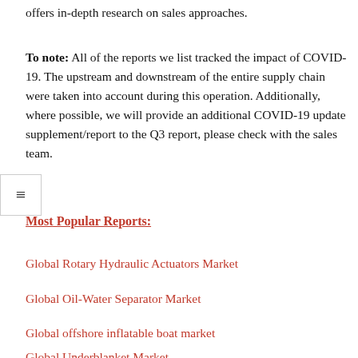offers in-depth research on sales approaches.
To note: All of the reports we list tracked the impact of COVID-19. The upstream and downstream of the entire supply chain were taken into account during this operation. Additionally, where possible, we will provide an additional COVID-19 update supplement/report to the Q3 report, please check with the sales team.
Most Popular Reports:
Global Rotary Hydraulic Actuators Market
Global Oil-Water Separator Market
Global offshore inflatable boat market
Global Underblanket Market